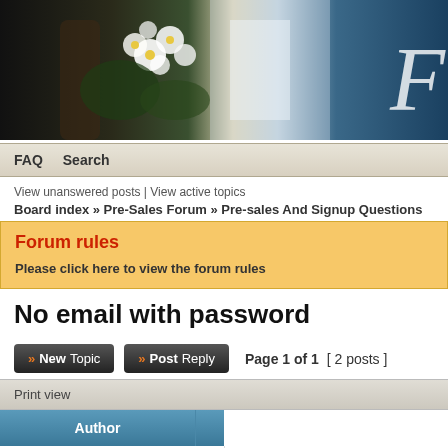[Figure (illustration): Forum website header banner with flowers, waterfall, and script letter F on blue background]
FAQ   Search
View unanswered posts | View active topics
Board index » Pre-Sales Forum » Pre-sales And Signup Questions
Forum rules
Please click here to view the forum rules
No email with password
>> NewTopic   >> PostReply   Page 1 of 1  [ 2 posts ]
Print view
| Author |  |
| --- | --- |
| alehar60 | Post subject: No email with password |
| Newbie | Hi! I signed up for freehosting with chocolate |
Newbie
Hi! I signed up for freehosting with chocolate